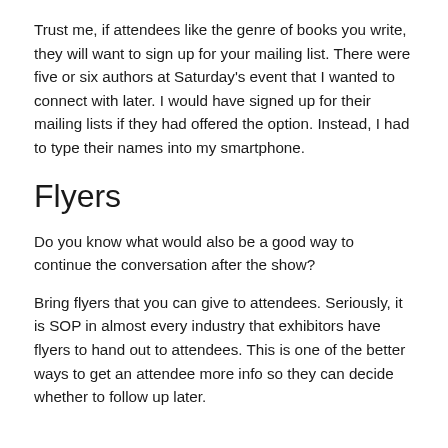Trust me, if attendees like the genre of books you write, they will want to sign up for your mailing list. There were five or six authors at Saturday's event that I wanted to connect with later. I would have signed up for their mailing lists if they had offered the option. Instead, I had to type their names into my smartphone.
Flyers
Do you know what would also be a good way to continue the conversation after the show?
Bring flyers that you can give to attendees. Seriously, it is SOP in almost every industry that exhibitors have flyers to hand out to attendees. This is one of the better ways to get an attendee more info so they can decide whether to follow up later.